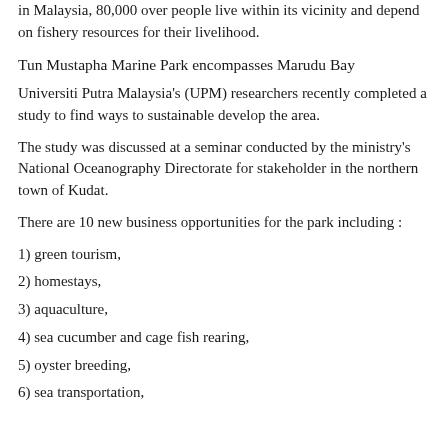in Malaysia, 80,000 over people live within its vicinity and depend on fishery resources for their livelihood.
Tun Mustapha Marine Park encompasses Marudu Bay
Universiti Putra Malaysia's (UPM) researchers recently completed a study to find ways to sustainable develop the area.
The study was discussed at a seminar conducted by the ministry's National Oceanography Directorate for stakeholder in the northern town of Kudat.
There are 10 new business opportunities for the park including :
1) green tourism,
2) homestays,
3) aquaculture,
4) sea cucumber and cage fish rearing,
5) oyster breeding,
6) sea transportation,